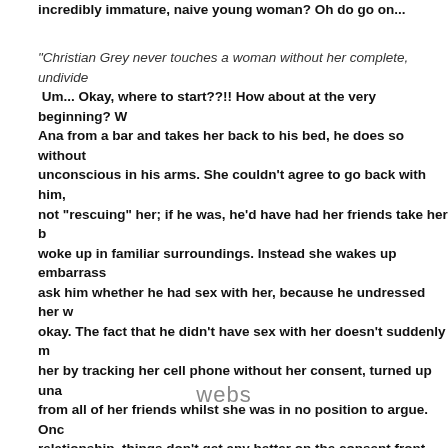incredibly immature, naive young woman? Oh do go on...
"Christian Grey never touches a woman without her complete, undivide Um... Okay, where to start??!! How about at the very beginning? Ana from a bar and takes her back to his bed, he does so without unconscious in his arms. She couldn't agree to go back with him, not "rescuing" her; if he was, he'd have had her friends take her b woke up in familiar surroundings. Instead she wakes up embarrass ask him whether he had sex with her, because he undressed her w okay. The fact that he didn't have sex with her doesn't suddenly m her by tracking her cell phone without her consent, turned up una from all of her friends whilst she was in no position to argue. Onc relationship, things don't get any better on the consent front, eith consent is a huge deal for him, telling her that he won't touch her contract, agreeing to a BDSM relationship. Then, in chapter 8, hav important it is that she signs, he says "oh, fuck the paperwork" an even though she hasn't signed and has been displaying concern a relationship, things get better with him and he continues to pus find her on the streets and she pretends to be keeping all this a
[Figure (logo): webs watermark logo]